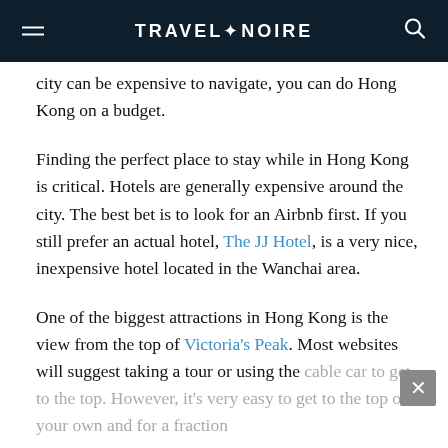TRAVEL+NOIRE
city can be expensive to navigate, you can do Hong Kong on a budget.
Finding the perfect place to stay while in Hong Kong is critical. Hotels are generally expensive around the city. The best bet is to look for an Airbnb first. If you still prefer an actual hotel, The JJ Hotel, is a very nice, inexpensive hotel located in the Wanchai area.
One of the biggest attractions in Hong Kong is the view from the top of Victoria's Peak. Most websites will suggest taking a tour or using the cable car to get to the top. However, it's very easy to get to the top on your own and for a fraction of the cost. You can take the free shuttle and...